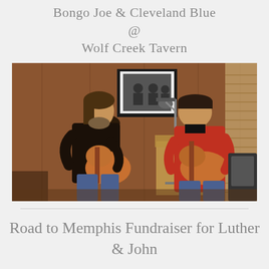Bongo Joe & Cleveland Blue
@
Wolf Creek Tavern
[Figure (photo): Two men playing acoustic guitars seated in a wood-paneled room. The man on the left wears a dark patterned shirt and the man on the right wears a red shirt and is near a microphone. A framed photograph hangs on the wall behind them.]
Road to Memphis Fundraiser for Luther & John